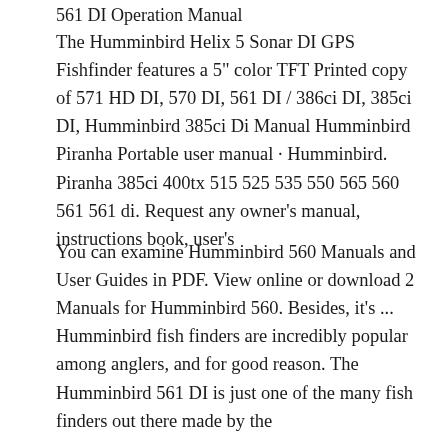561 DI Operation Manual
The Humminbird Helix 5 Sonar DI GPS Fishfinder features a 5" color TFT Printed copy of 571 HD DI, 570 DI, 561 DI / 386ci DI, 385ci DI, Humminbird 385ci Di Manual Humminbird Piranha Portable user manual · Humminbird. Piranha 385ci 400tx 515 525 535 550 565 560 561 561 di. Request any owner's manual, instructions book, user's
You can examine Humminbird 560 Manuals and User Guides in PDF. View online or download 2 Manuals for Humminbird 560. Besides, it's ... Humminbird fish finders are incredibly popular among anglers, and for good reason. The Humminbird 561 DI is just one of the many fish finders out there made by the